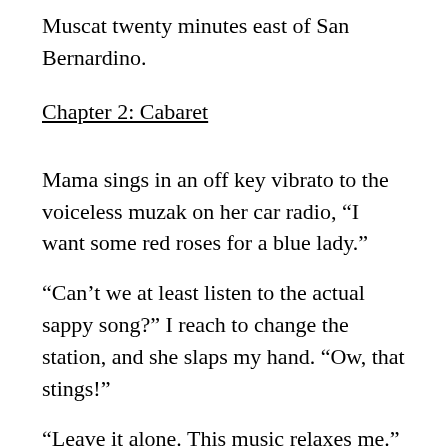Muscat twenty minutes east of San Bernardino.
Chapter 2: Cabaret
Mama sings in an off key vibrato to the voiceless muzak on her car radio, “I want some red roses for a blue lady.”
“Can’t we at least listen to the actual sappy song?” I reach to change the station, and she slaps my hand. “Ow, that stings!”
“Leave it alone. This music relaxes me.”
It’s Halloween night, a school night. We’re pulling away from Baker’s Drive Thru, my favorite place to eat. Mama got me a cheeseburger, fries, and chocolate shake as a guilt gift. Whenever she feels bad about letting me down, which is a lot lately, Mama buys me something. I